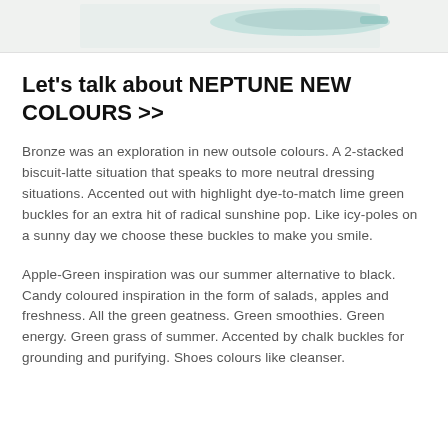[Figure (photo): Partial product image strip at top of page showing what appears to be a shoe or accessory in light/teal colors against a light background]
Let's talk about NEPTUNE NEW COLOURS >>
Bronze was an exploration in new outsole colours. A 2-stacked biscuit-latte situation that speaks to more neutral dressing situations. Accented out with highlight dye-to-match lime green buckles for an extra hit of radical sunshine pop. Like icy-poles on a sunny day we choose these buckles to make you smile.
Apple-Green inspiration was our summer alternative to black. Candy coloured inspiration in the form of salads, apples and freshness. All the green geatness. Green smoothies. Green energy. Green grass of summer. Accented by chalk buckles for grounding and purifying. Shoes colours like cleanser.